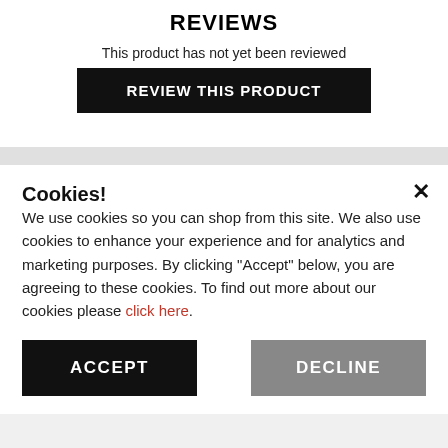REVIEWS
This product has not yet been reviewed
REVIEW THIS PRODUCT
Cookies!
We use cookies so you can shop from this site. We also use cookies to enhance your experience and for analytics and marketing purposes. By clicking "Accept" below, you are agreeing to these cookies. To find out more about our cookies please click here.
ACCEPT
DECLINE